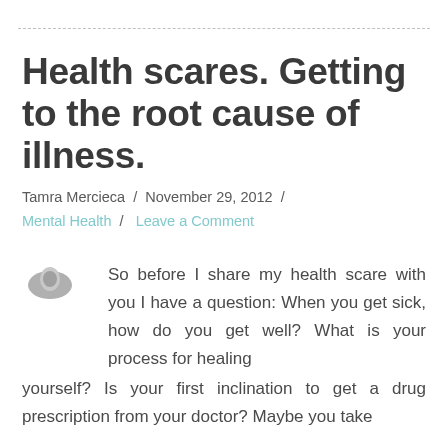Health scares. Getting to the root cause of illness.
Tamra Mercieca / November 29, 2012 / Mental Health / Leave a Comment
So before I share my health scare with you I have a question: When you get sick, how do you get well? What is your process for healing yourself? Is your first inclination to get a drug prescription from your doctor? Maybe you take